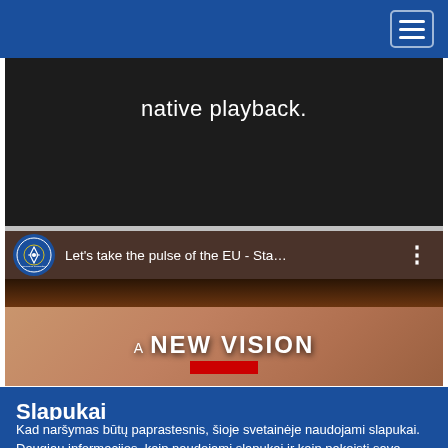Navigation bar with hamburger menu
[Figure (screenshot): Dark/black video player area showing text 'native playback.' in white on dark background]
[Figure (screenshot): YouTube video thumbnail showing 'Let's take the pulse of the EU - Sta...' with European Committee of the Regions logo and 'A NEW VISION' text overlay on a close-up eye image]
Slapukai
Kad naršymas būtų paprastesnis, šioje svetainėje naudojami slapukai. Daugiau informacijos, kaip naudojami slapukai ir kaip pakeisti savo nuostatas.
Priimu slapukus
Atsisakau priimti slapukus